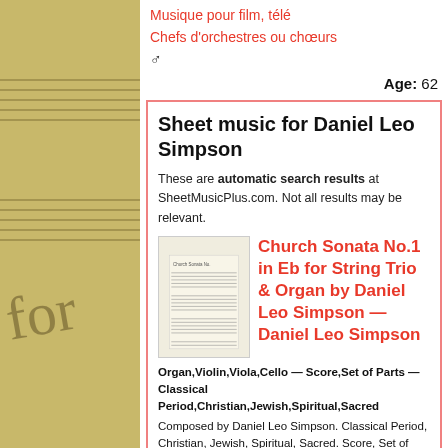Musique pour film, télé
Chefs d'orchestres ou chœurs
♂
Age: 62
Sheet music for Daniel Leo Simpson
These are automatic search results at SheetMusicPlus.com. Not all results may be relevant.
[Figure (illustration): Thumbnail of sheet music score cover]
Church Sonata No.1 in Eb for String Trio & Organ by Daniel Leo Simpson — Daniel Leo Simpson
Organ,Violin,Viola,Cello — Score,Set of Parts — Classical Period,Christian,Jewish,Spiritual,Sacred
Composed by Daniel Leo Simpson. Classical Period, Christian, Jewish, Spiritual, Sacred. Score, Set of Parts. 21 pages. Published by ScorePerfect (S0.22727).